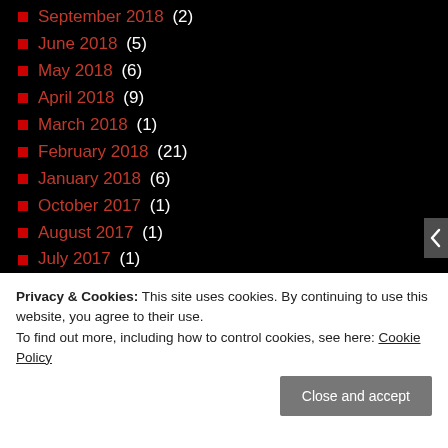September 2018 (2)
June 2018 (5)
May 2018 (6)
April 2018 (9)
March 2018 (1)
February 2018 (21)
January 2018 (6)
October 2017 (1)
August 2017 (1)
July 2017 (1)
June 2017 (8)
May 2017 (32)
April 2017 (76)
March 2017 (61)
February 2017 (72)
January 2017 (53)
December 2016 (33)
Privacy & Cookies: This site uses cookies. By continuing to use this website, you agree to their use. To find out more, including how to control cookies, see here: Cookie Policy